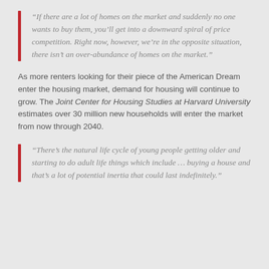“If there are a lot of homes on the market and suddenly no one wants to buy them, you’ll get into a downward spiral of price competition. Right now, however, we’re in the opposite situation, there isn’t an over-abundance of homes on the market.”
As more renters looking for their piece of the American Dream enter the housing market, demand for housing will continue to grow. The Joint Center for Housing Studies at Harvard University estimates over 30 million new households will enter the market from now through 2040.
“There’s the natural life cycle of young people getting older and starting to do adult life things which include … buying a house and that’s a lot of potential inertia that could last indefinitely.”